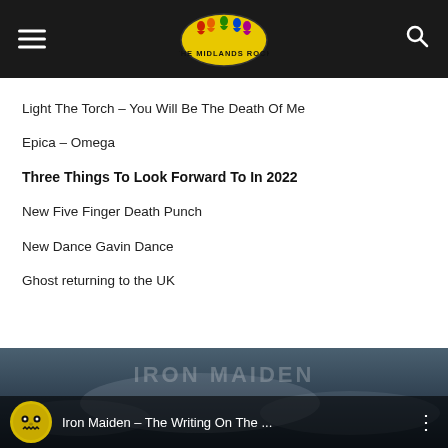The Midlands Rock
Light The Torch – You Will Be The Death Of Me
Epica – Omega
Three Things To Look Forward To In 2022
New Five Finger Death Punch
New Dance Gavin Dance
Ghost returning to the UK
[Figure (screenshot): YouTube video thumbnail for Iron Maiden – The Writing On The Wall, showing Iron Maiden logo text overlay on a dark sky background with an Eddie skull icon on the left.]